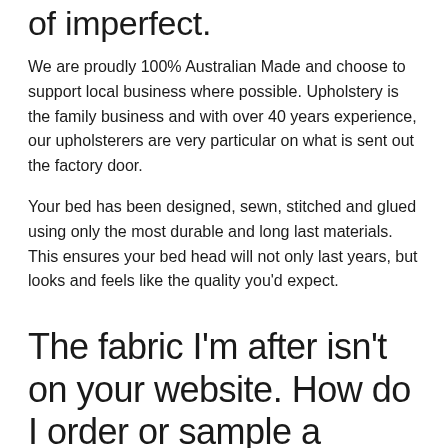of imperfect.
We are proudly 100% Australian Made and choose to support local business where possible. Upholstery is the family business and with over 40 years experience, our upholsterers are very particular on what is sent out the factory door.
Your bed has been designed, sewn, stitched and glued using only the most durable and long last materials. This ensures your bed head will not only last years, but looks and feels like the quality you'd expect.
The fabric I'm after isn't on your website. How do I order or sample a certain fabric?